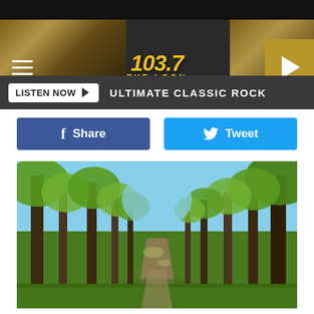[Figure (screenshot): 103.7 The Loon radio station website header with logo, hamburger menu, and play button on dark background with wood texture]
LISTEN NOW  ULTIMATE CLASSIC ROCK
f  Share
Tweet
[Figure (photo): Forest path with tall trees in spring/summer with green foliage and blue sky visible through the canopy, grass trail leading through the woods]